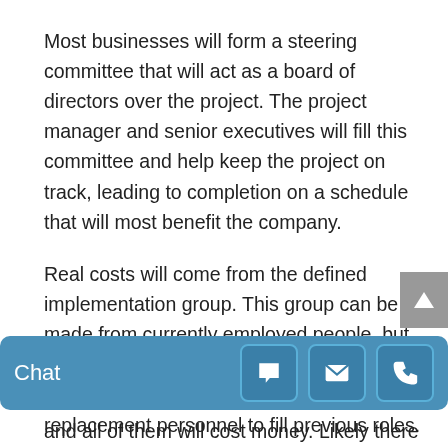Most businesses will form a steering committee that will act as a board of directors over the project. The project manager and senior executives will fill this committee and help keep the project on track, leading to completion on a schedule that will most benefit the company.
Real costs will come from the defined implementation group. This group can be made from currently employed people, but all of them, while working on the project on a part-time or full-time basis, will need replacement personnel to fill previous roles.
[Figure (screenshot): Chat widget bar at bottom with Chat label and three icon buttons (chat bubble, envelope, phone), and a gray scroll-to-top arrow button on right side]
and all of them will cost money. Likely there